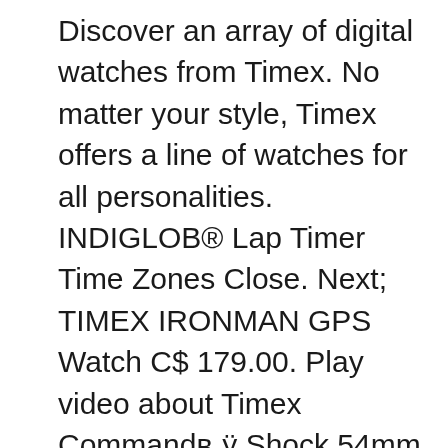Discover an array of digital watches from Timex. No matter your style, Timex offers a line of watches for all personalities. INDIGLOB® Lap Timer Time Zones Close. Next; TIMEX IRONMAN GPS Watch C$ 179.00. Play video about Timex Commandв„ÿ Shock 54mm Resin Strap Watch. Timex Commandв„ÿ Shock 54mm Resin Strap Watch C$ 149.00. 1-48 of 590 results for Watches: "timex indiglo" Skip to main search results Amazon Prime. Free UK Delivery by Amazon. All customers get FREE UK Delivery on orders over BJ20 dispatched by Amazon. Department. Marathon Men's Watch with LCD Dial Digital Display and Resin